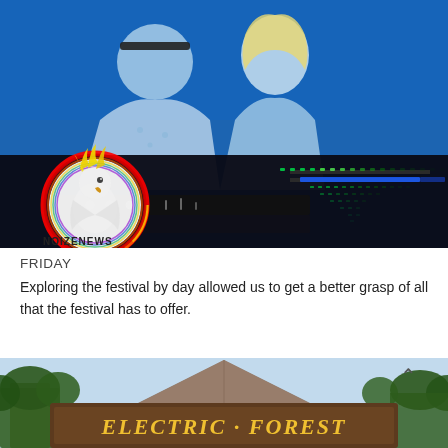[Figure (photo): Two people behind a DJ booth or stage setup, bathed in blue light with a large LED screen visible. A NOIZENEWS logo (parrot in a circle) is in the lower left corner. Colorful LED equalizer bars visible on the screen.]
FRIDAY
Exploring the festival by day allowed us to get a better grasp of all that the festival has to offer.
[Figure (photo): Outdoor photo of the Electric Forest festival entrance sign with a pyramid-shaped roof structure behind it. Trees visible in background, blue sky. An upward-pointing caret/arrow symbol visible in upper right of image.]